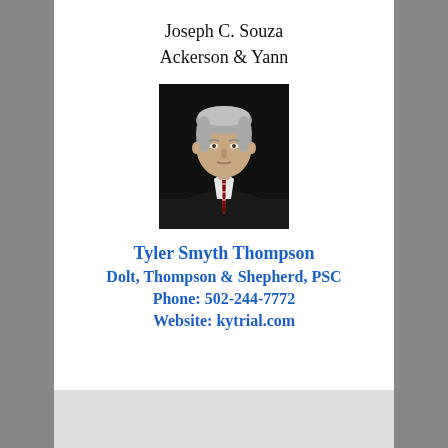Joseph C. Souza
Ackerson & Yann
[Figure (photo): Professional headshot of Tyler Smyth Thompson, a middle-aged man with gray hair wearing a dark suit and red striped tie against a dark background.]
Tyler Smyth Thompson
Dolt, Thompson & Shepherd, PSC
Phone: 502-244-7772
Website: kytrial.com